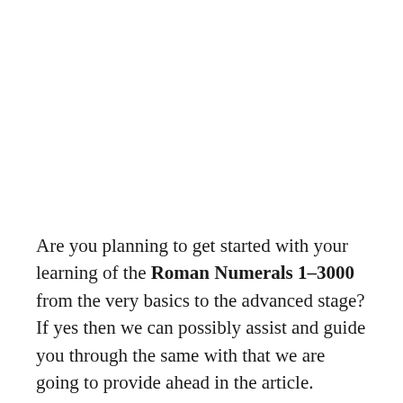Are you planning to get started with your learning of the Roman Numerals 1–3000 from the very basics to the advanced stage? If yes then we can possibly assist and guide you through the same with that we are going to provide ahead in the article.